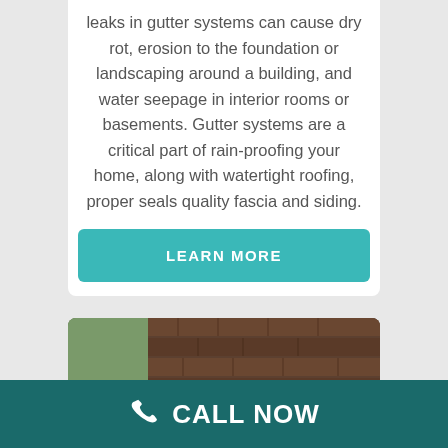leaks in gutter systems can cause dry rot, erosion to the foundation or landscaping around a building, and water seepage in interior rooms or basements. Gutter systems are a critical part of rain-proofing your home, along with watertight roofing, proper seals quality fascia and siding.
LEARN MORE
[Figure (photo): Close-up photo of a white gutter guard/cover being installed on the edge of a roof with brown asphalt shingles, green grass visible in the background on the left side.]
CALL NOW